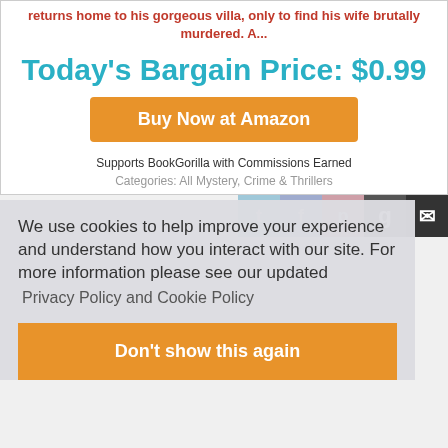returns home to his gorgeous villa, only to find his wife brutally murdered. A...
Today's Bargain Price: $0.99
Buy Now at Amazon
Supports BookGorilla with Commissions Earned
Categories: All Mystery, Crime & Thrillers
We use cookies to help improve your experience and understand how you interact with our site. For more information please see our updated
Privacy Policy and Cookie Policy
Don't show this again
Get Deep Discounts on Premium